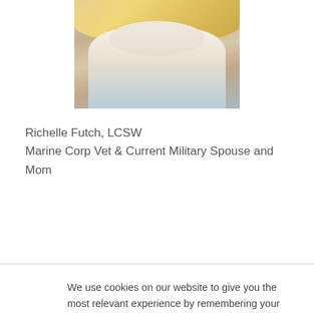[Figure (photo): Portrait photo of a blonde woman wearing a light blue denim jacket and white top with a pearl necklace, cropped to show upper body]
Richelle Futch, LCSW
Marine Corp Vet & Current Military Spouse and Mom
We use cookies on our website to give you the most relevant experience by remembering your preferences and repeat visits. By clicking “Accept”, you consent to the use of ALL the cookies.